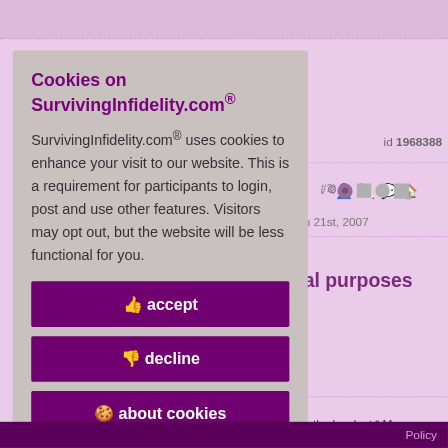Cookies on SurvivingInfidelity.com®
SurvivingInfidelity.com® uses cookies to enhance your visit to our website. This is a requirement for participants to login, post and use other features. Visitors may opt out, but the website will be less functional for you.
accept
decline
about cookies
id 1968388
#2)
h 21st, 2007
al purposes
s the hardest " My
Policy